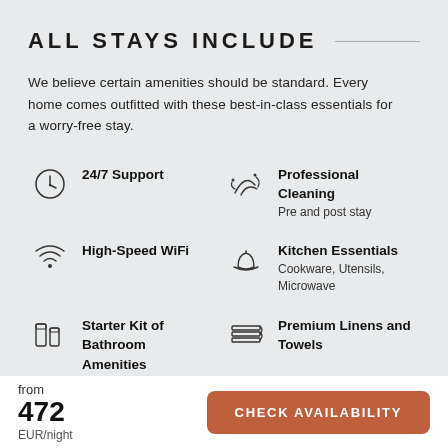ALL STAYS INCLUDE
We believe certain amenities should be standard. Every home comes outfitted with these best-in-class essentials for a worry-free stay.
24/7 Support
Professional Cleaning
Pre and post stay
High-Speed WiFi
Kitchen Essentials
Cookware, Utensils, Microwave
Starter Kit of Bathroom Amenities
Soap, Shampoo, Hair Dryer
Premium Linens and Towels
from
472
EUR/night
CHECK AVAILABILITY